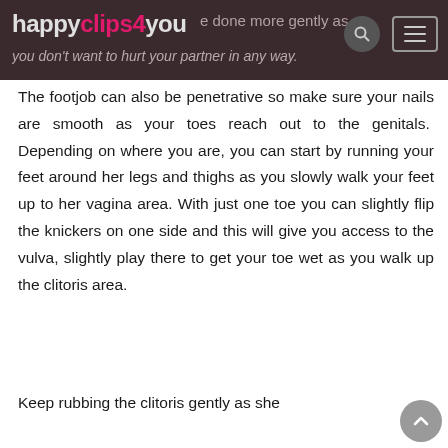happyclips4you — e done more gently as you don't want to hurt your partner in any way.
The footjob can also be penetrative so make sure your nails are smooth as your toes reach out to the genitals.  Depending on where you are, you can start by running your feet around her legs and thighs as you slowly walk your feet up to her vagina area. With just one toe you can slightly flip the knickers on one side and this will give you access to the vulva, slightly play there to get your toe wet as you walk up the clitoris area.
Keep rubbing the clitoris gently as she